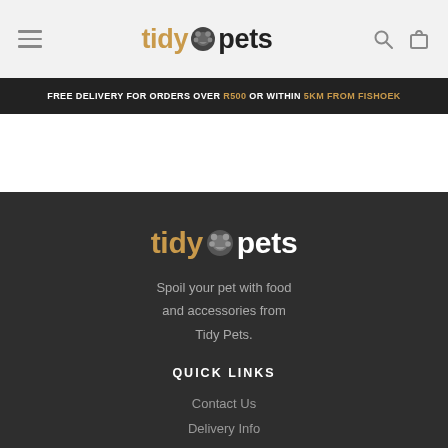tidy🐾pets
FREE DELIVERY FOR ORDERS OVER R500 OR WITHIN 5KM FROM FISHOEK
[Figure (logo): Tidy Pets logo in footer — 'tidy' in gold, paw icon, 'pets' in white]
Spoil your pet with food and accessories from Tidy Pets.
QUICK LINKS
Contact Us
Delivery Info